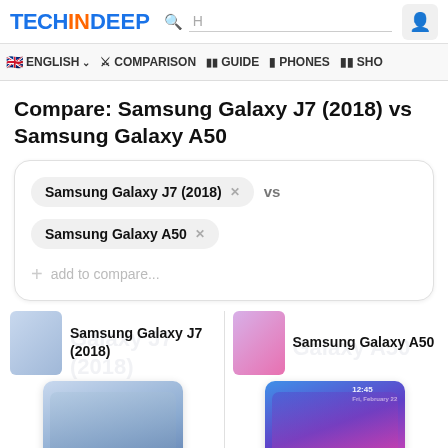TECHINDEEP  🔍 H  👤
🇬🇧ENGLISH ✓  ⚔ COMPARISON  📱 GUIDE  📱 PHONES  📋 SHO
Compare: Samsung Galaxy J7 (2018) vs Samsung Galaxy A50
Samsung Galaxy J7 (2018) × vs
Samsung Galaxy A50 ×
+ add to compare...
Samsung Galaxy J7 (2018)  |  Samsung Galaxy A50